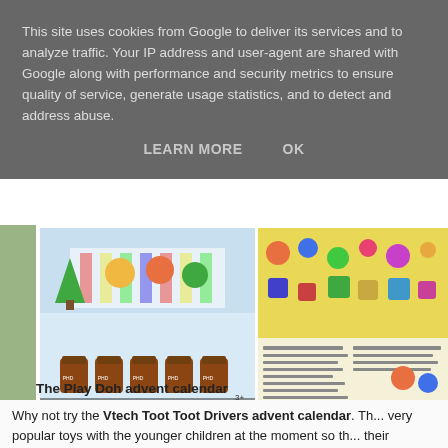This site uses cookies from Google to deliver its services and to analyze traffic. Your IP address and user-agent are shared with Google along with performance and security metrics to ensure quality of service, generate usage statistics, and to detect and address abuse.
LEARN MORE    OK
[Figure (photo): Play-Doh advent calendar product box showing colorful holiday scene with Play-Doh tubs in front]
[Figure (photo): Second advent calendar product partially visible showing yellow packaging with colorful toy characters]
The Play Doh advent calendar
Why not try the Vtech Toot Toot Drivers advent calendar. Th... very popular toys with the younger children at the moment so th... their collection. Including a sleigh with music and lights, detach... This is f...